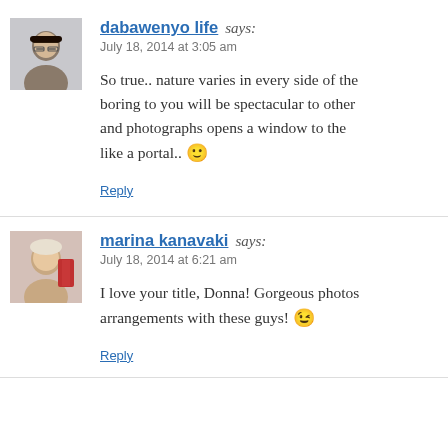[Figure (photo): Avatar photo of dabawenyo life commenter, woman with dark hair and glasses]
dabawenyo life says:
July 18, 2014 at 3:05 am
So true.. nature varies in every side of the boring to you will be spectacular to other and photographs opens a window to the like a portal.. 🙂
Reply
[Figure (photo): Avatar photo of marina kanavaki commenter, woman with light hair and red clothing]
marina kanavaki says:
July 18, 2014 at 6:21 am
I love your title, Donna! Gorgeous photos arrangements with these guys! 😉
Reply